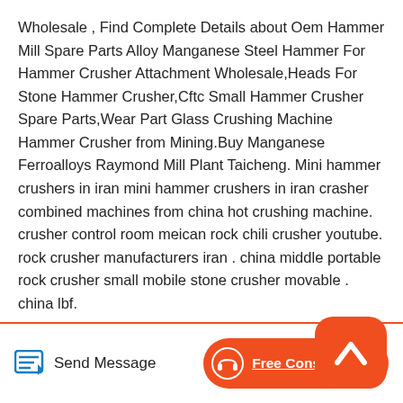Wholesale , Find Complete Details about Oem Hammer Mill Spare Parts Alloy Manganese Steel Hammer For Hammer Crusher Attachment Wholesale,Heads For Stone Hammer Crusher,Cftc Small Hammer Crusher Spare Parts,Wear Part Glass Crushing Machine Hammer Crusher from Mining.Buy Manganese Ferroalloys Raymond Mill Plant Taicheng. Mini hammer crushers in iran mini hammer crushers in iran crasher combined machines from china hot crushing machine. crusher control room meican rock chili crusher youtube. rock crusher manufacturers iran . china middle portable rock crusher small mobile stone crusher movable . china lbf.
[Figure (other): Orange rounded square floating action button with a white upward chevron icon]
Send Message
Free Consultation